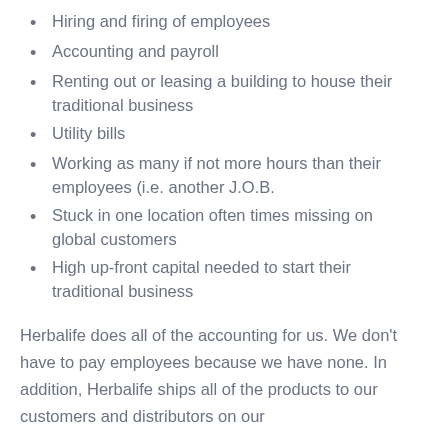Hiring and firing of employees
Accounting and payroll
Renting out or leasing a building to house their traditional business
Utility bills
Working as many if not more hours than their employees (i.e. another J.O.B.
Stuck in one location often times missing on global customers
High up-front capital needed to start their traditional business
Herbalife does all of the accounting for us. We don't have to pay employees because we have none. In addition, Herbalife ships all of the products to our customers and distributors on our